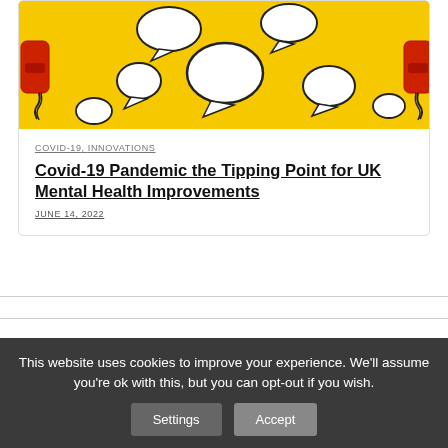[Figure (photo): Yellow background with speech bubble cutouts and red telephone handsets on either side]
COVID-19, INNOVATIONS
Covid-19 Pandemic the Tipping Point for UK Mental Health Improvements
JUNE 14, 2022
This website uses cookies to improve your experience. We'll assume you're ok with this, but you can opt-out if you wish.